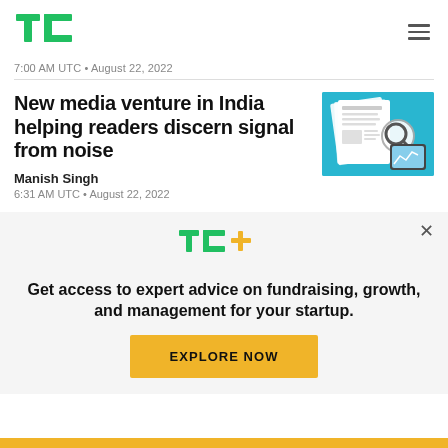TechCrunch logo and navigation
7:00 AM UTC • August 22, 2022
New media venture in India helping readers discern signal from noise
Manish Singh
6:31 AM UTC • August 22, 2022
[Figure (illustration): Illustration of newspapers and tablet on teal/cyan background]
Get access to expert advice on fundraising, growth, and management for your startup.
EXPLORE NOW